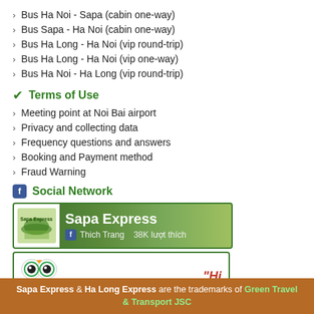Bus Ha Noi - Sapa (cabin one-way)
Bus Sapa - Ha Noi (cabin one-way)
Bus Ha Long - Ha Noi (vip round-trip)
Bus Ha Long - Ha Noi (vip one-way)
Bus Ha Noi - Ha Long (vip round-trip)
Terms of Use
Meeting point at Noi Bai airport
Privacy and collecting data
Frequency questions and answers
Booking and Payment method
Fraud Warning
Social Network
[Figure (screenshot): Sapa Express Facebook page banner showing logo, name, and 38K likes (Thich Trang)]
[Figure (screenshot): TripAdvisor widget box with owl logo and partial review quote starting with Hi]
Sapa Express & Ha Long Express are the trademarks of Green Travel & Transport JSC